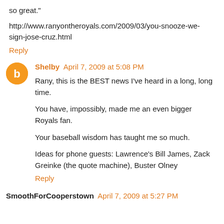so great."
http://www.ranyontheroyals.com/2009/03/you-snooze-we-sign-jose-cruz.html
Reply
Shelby  April 7, 2009 at 5:08 PM
Rany, this is the BEST news I've heard in a long, long time.

You have, impossibly, made me an even bigger Royals fan.

Your baseball wisdom has taught me so much.

Ideas for phone guests: Lawrence's Bill James, Zack Greinke (the quote machine), Buster Olney
Reply
SmoothForCooperstown  April 7, 2009 at 5:27 PM